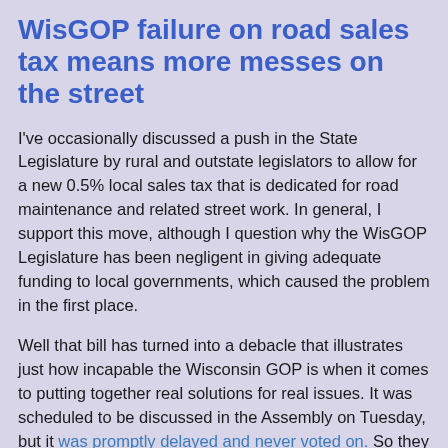WisGOP failure on road sales tax means more messes on the street
I've occasionally discussed a push in the State Legislature by rural and outstate legislators to allow for a new 0.5% local sales tax that is dedicated for road maintenance and related street work. In general, I support this move, although I question why the WisGOP Legislature has been negligent in giving adequate funding to local governments, which caused the problem in the first place.
Well that bill has turned into a debacle that illustrates just how incapable the Wisconsin GOP is when it comes to putting together real solutions for real issues. It was scheduled to be discussed in the Assembly on Tuesday, but it was promptly delayed and never voted on. So they thought they might able to pass it today as part of a massive Assembly calendar, but instead the bill failed again to get enough support to reach the floor, and now Assembly Speaker Robbin' Vos says he doesn't think the bill can get through because not enough Republicans can agree on the details. And since that Vos is trying to convene the Assembly...